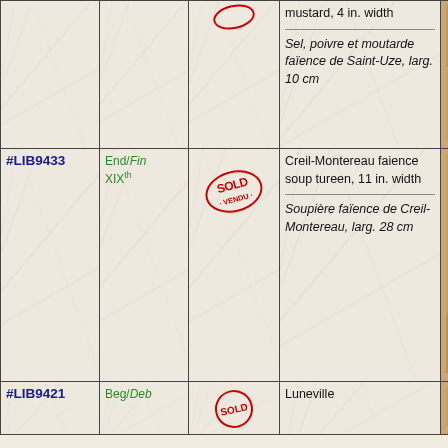| ID | Period | Status | Description | Photo |
| --- | --- | --- | --- | --- |
|  |  |  | mustard, 4 in. width

Sel, poivre et moutarde faïence de Saint-Uze, larg. 10 cm | [photo] |
| #LIB9433 | End/Fin XIXth | SOLD | Creil-Montereau faience soup tureen, 11 in. width

Soupière faïence de Creil-Montereau, larg. 28 cm | [photo] |
| #LIB9421 | Beg/Deb |  | Luneville | [photo] |